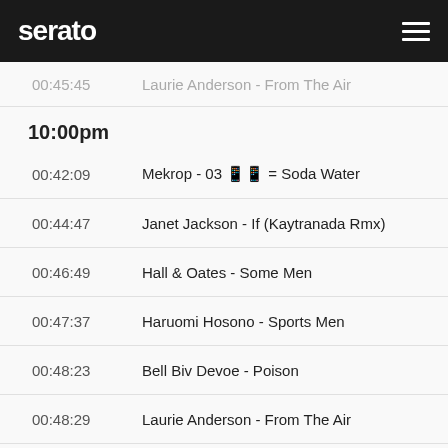serato
00:45:45   Laurie Anderson - From The Air
10:00pm
00:42:09   Mekrop - 03 ?? = Soda Water
00:44:47   Janet Jackson - If (Kaytranada Rmx)
00:46:49   Hall & Oates - Some Men
00:47:37   Haruomi Hosono - Sports Men
00:48:23   Bell Biv Devoe - Poison
00:48:29   Laurie Anderson - From The Air
00:49:39   Ben LaMar Gay - Muhal
00:50:31   Equiknoxx Music - Fly Away